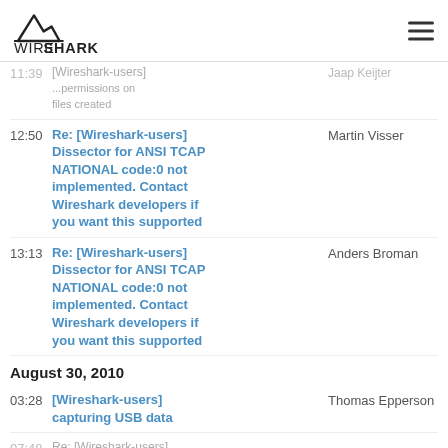[Figure (logo): Wireshark logo with shark fin and bold text WIRESHARK]
11:39 [Wireshark-users] ... Jaap Keijter
12:50 Re: [Wireshark-users] Dissector for ANSI TCAP NATIONAL code:0 not implemented. Contact Wireshark developers if you want this supported — Martin Visser
13:13 Re: [Wireshark-users] Dissector for ANSI TCAP NATIONAL code:0 not implemented. Contact Wireshark developers if you want this supported — Anders Broman
August 30, 2010
03:28 [Wireshark-users] capturing USB data — Thomas Epperson
07:48 Re: [Wireshark-users] ...